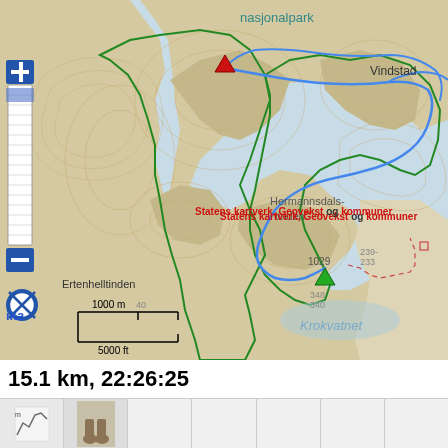[Figure (map): Topographic map showing a hiking route in Norway. Blue route line traces a path from a red downward triangle marker (start) near top-left, through mountainous terrain labeled 'nasjonalpark' at top, past 'Vindstad' top-right, through 'Hermannsdals-tinden' mountain area (elevation 1029m), to a green downward triangle marker (end/waypoint) in the center-right. A green boundary line outlines a park area. The fjord/lake 'Krokvatnet' is visible at bottom-center. 'Ertenhelltinden' labeled on left. Elevation markers 239, 233, 348, 340 visible. Scale bar shows 1000m / 5000ft. Attribution reads 'Statens kartverk, Geovekst og kommuner'. Zoom controls on left side. Rescue icon (blue circle with X) on left. Red dashed path visible in lower-right area.]
15.1 km, 22:26:25
[Figure (photo): Thumbnail strip at bottom showing partial photo thumbnails, first cell appears to have elevation profile icon, second shows feet/boots photo]